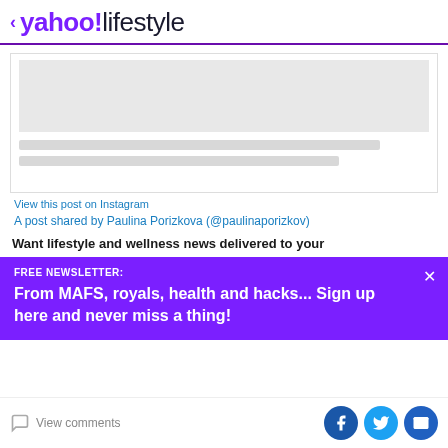< yahoo!lifestyle
[Figure (screenshot): Instagram embed placeholder showing a grey image area and two grey text placeholder lines inside a bordered box]
View this post on Instagram
A post shared by Paulina Porizkova (@paulinaporizkov)
Want lifestyle and wellness news delivered to your
FREE NEWSLETTER:
From MAFS, royals, health and hacks... Sign up here and never miss a thing!
View comments